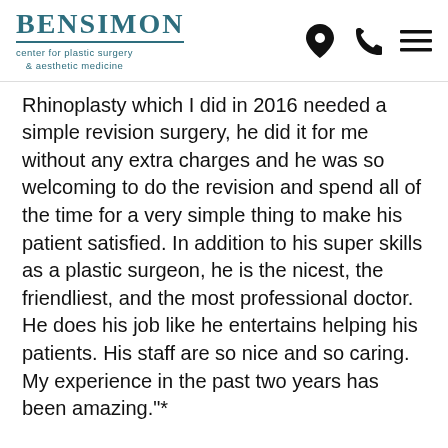[Figure (logo): Bensimon Center for Plastic Surgery & Aesthetic Medicine logo with teal text and navigation icons (location pin, phone, hamburger menu)]
Rhinoplasty which I did in 2016 needed a simple revision surgery, he did it for me without any extra charges and he was so welcoming to do the revision and spend all of the time for a very simple thing to make his patient satisfied. In addition to his super skills as a plastic surgeon, he is the nicest, the friendliest, and the most professional doctor. He does his job like he entertains helping his patients. His staff are so nice and so caring. My experience in the past two years has been amazing."*
5.0 ★★★★★